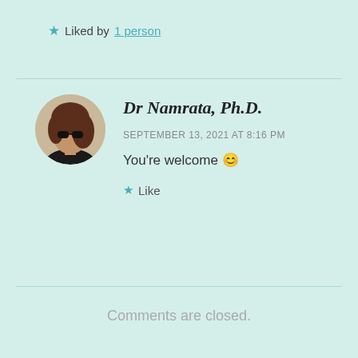★ Liked by 1 person
[Figure (photo): Circular profile photo of Dr Namrata, Ph.D., a woman with sunglasses and dark hair]
Dr Namrata, Ph.D.
SEPTEMBER 13, 2021 AT 8:16 PM
You're welcome 😊
★ Like
Comments are closed.